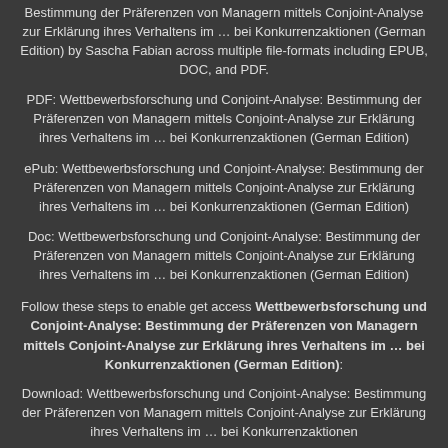Bestimmung der Präferenzen von Managern mittels Conjoint-Analyse zur Erklärung ihres Verhaltens im … bei Konkurrenzaktionen (German Edition) by Sascha Fabian across multiple file-formats including EPUB, DOC, and PDF.
PDF: Wettbewerbsforschung und Conjoint-Analyse: Bestimmung der Präferenzen von Managern mittels Conjoint-Analyse zur Erklärung ihres Verhaltens im … bei Konkurrenzaktionen (German Edition)
ePub: Wettbewerbsforschung und Conjoint-Analyse: Bestimmung der Präferenzen von Managern mittels Conjoint-Analyse zur Erklärung ihres Verhaltens im … bei Konkurrenzaktionen (German Edition)
Doc: Wettbewerbsforschung und Conjoint-Analyse: Bestimmung der Präferenzen von Managern mittels Conjoint-Analyse zur Erklärung ihres Verhaltens im … bei Konkurrenzaktionen (German Edition)
Follow these steps to enable get access Wettbewerbsforschung und Conjoint-Analyse: Bestimmung der Präferenzen von Managern mittels Conjoint-Analyse zur Erklärung ihres Verhaltens im … bei Konkurrenzaktionen (German Edition):
Download: Wettbewerbsforschung und Conjoint-Analyse: Bestimmung der Präferenzen von Managern mittels Conjoint-Analyse zur Erklärung ihres Verhaltens im … bei Konkurrenzaktionen (German Edition) PDF